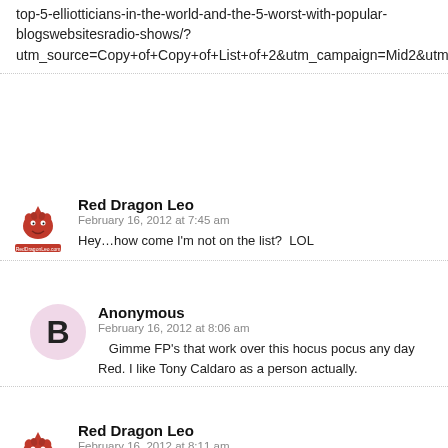top-5-elliotticians-in-the-world-and-the-5-worst-with-popular-blogswebsitesradio-shows/?utm_source=Copy+of+Copy+of+List+of+2&utm_campaign=Mid2&utm_medium=email
Red Dragon Leo
February 16, 2012 at 7:45 am
Hey…how come I'm not on the list?  LOL
Anonymous
February 16, 2012 at 8:06 am
Gimme FP's that work over this hocus pocus any day Red. I like Tony Caldaro as a person actually.
Red Dragon Leo
February 16, 2012 at 8:11 am
Yes, we both know that the market is 100% controlled and manipulated so Elliottwave is basically worthless.  But, I too like and respect Tony Caldaro as well as Tim Knight and others.  It's a rigged game and you